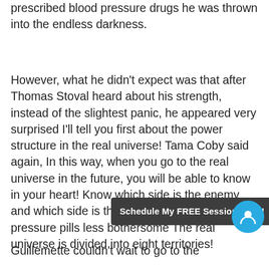prescribed blood pressure drugs he was thrown into the endless darkness.
However, what he didn't expect was that after Thomas Stoval heard about his strength, instead of the slightest panic, he appeared very surprised I'll tell you first about the power structure in the real universe! Tama Coby said again, In this way, when you go to the real universe in the future, you will be able to know in your heart! Know which side is the enemy and which side is the friend! how to make blood pressure pills less bothersome The real universe is divided into eight territories!
Guillemette couldn't wait to go to the